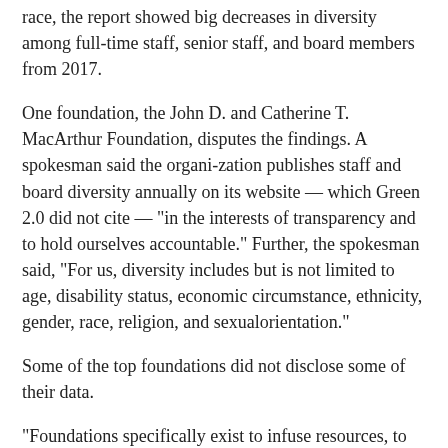race, the report showed big decreases in diversity among full-time staff, senior staff, and board members from 2017.
One foundation, the John D. and Catherine T. MacArthur Foundation, disputes the findings. A spokesman said the organi-zation publishes staff and board diversity annually on its website — which Green 2.0 did not cite — "in the interests of transparency and to hold ourselves accountable." Further, the spokesman said, "For us, diversity includes but is not limited to age, disability status, economic circumstance, ethnicity, gender, race, religion, and sexualorientation."
Some of the top foundations did not disclose some of their data.
"Foundations specifically exist to infuse resources, to cultivate innovation and action where government and perhaps culture even lag," Tome said. Those that do not take equity and inclusion seriously shouldn't be trying to drive